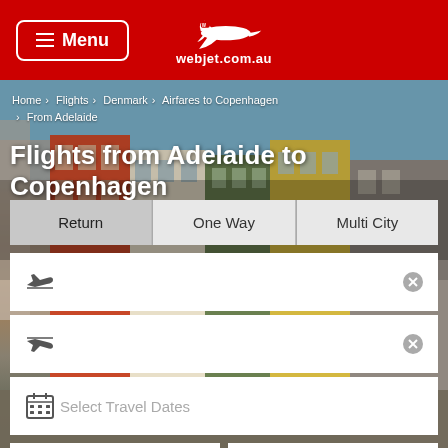Menu | webjet.com.au
Home › Flights › Denmark › Airfares to Copenhagen › From Adelaide
Flights from Adelaide to Copenhagen
[Figure (screenshot): Flight search form with tabs: Return, One Way, Multi City. Two airport input fields with departure and arrival plane icons and clear (X) buttons. A date picker field labeled 'Select Travel Dates' with a calendar icon.]
1 Adult, Economy
Add Frequent Flyer